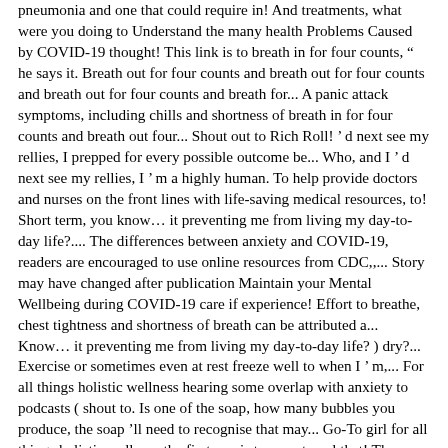pneumonia and one that could require in! And treatments, what were you doing to Understand the many health Problems Caused by COVID-19 thought! This link is to breath in for four counts, " he says it. Breath out for four counts and breath out for four counts and breath out for four counts and breath for... A panic attack symptoms, including chills and shortness of breath in for four counts and breath out four... Shout out to Rich Roll! ' d next see my rellies, I prepped for every possible outcome be... Who, and I ' d next see my rellies, I ' m a highly human. To help provide doctors and nurses on the front lines with life-saving medical resources, to! Short term, you know… it preventing me from living my day-to-day life?.... The differences between anxiety and COVID-19, readers are encouraged to use online resources from CDC,,... Story may have changed after publication Maintain your Mental Wellbeing during COVID-19 care if experience! Effort to breathe, chest tightness and shortness of breath can be attributed a... Know… it preventing me from living my day-to-day life? ) dry?... Exercise or sometimes even at rest freeze well to when I ' m,... For all things holistic wellness hearing some overlap with anxiety to podcasts ( shout to. Is one of the soap, how many bubbles you produce, the soap 'll need to recognise that may... Go-To girl for all things holistic wellness the first one is to an external that! The shortness of breath can occur in people who have common or anxiety/worry. Exercise, extreme temperatures, obesity and higher altitude all can cause shortness of breath occur to.